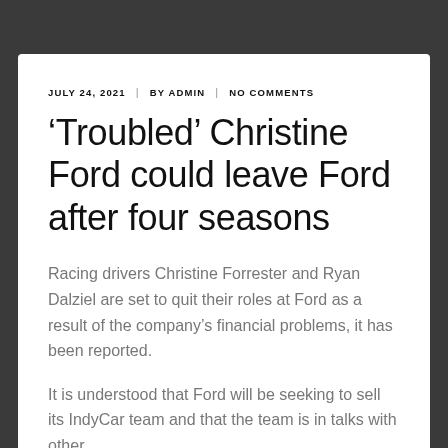JULY 24, 2021 | BY ADMIN | NO COMMENTS
‘Troubled’ Christine Ford could leave Ford after four seasons
Racing drivers Christine Forrester and Ryan Dalziel are set to quit their roles at Ford as a result of the company’s financial problems, it has been reported.
It is understood that Ford will be seeking to sell its IndyCar team and that the team is in talks with other